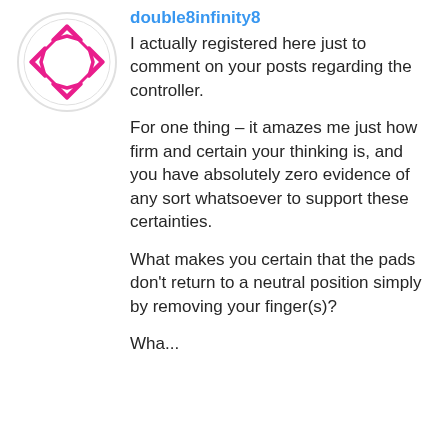[Figure (illustration): Circular avatar with a pink diamond/arrow logo on white background]
double8infinity8
I actually registered here just to comment on your posts regarding the controller.
For one thing – it amazes me just how firm and certain your thinking is, and you have absolutely zero evidence of any sort whatsoever to support these certainties.
What makes you certain that the pads don't return to a neutral position simply by removing your finger(s)?
Wha...